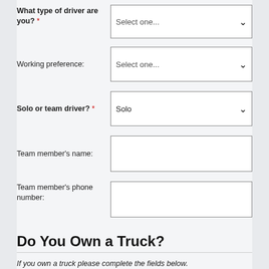What type of driver are you? *
Working preference:
Solo or team driver? *
Team member's name:
Team member's phone number:
Do You Own a Truck?
If you own a truck please complete the fields below.